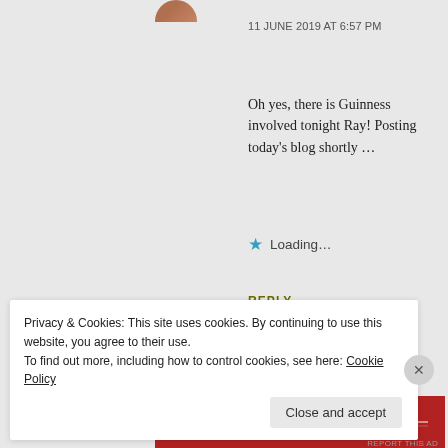11 JUNE 2019 AT 6:57 PM
Oh yes, there is Guinness involved tonight Ray! Posting today's blog shortly ...
Loading...
REPLY
Advertisements
[Figure (logo): Longreads logo on a dark red banner background with decorative horizontal lines flanking the circular L logo and LONGREADS text]
Privacy & Cookies: This site uses cookies. By continuing to use this website, you agree to their use.
To find out more, including how to control cookies, see here: Cookie Policy
Close and accept